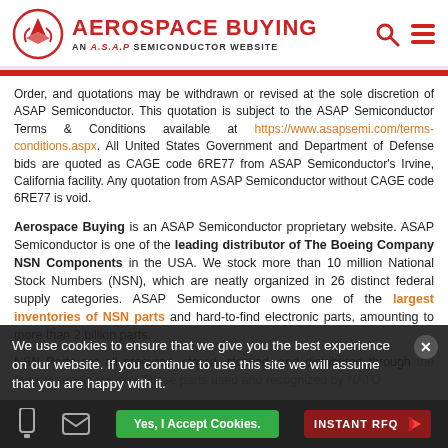[Figure (logo): Aerospace Buying logo with ASAP Semiconductor website branding, red airplane icon, red text title, search and menu icons]
Order, and quotations may be withdrawn or revised at the sole discretion of ASAP Semiconductor. This quotation is subject to the ASAP Semiconductor Terms & Conditions available at https://www.asapsemi.com/terms-conditions.aspx. All United States Government and Department of Defense bids are quoted as CAGE code 6RE77 from ASAP Semiconductor's Irvine, California facility. Any quotation from ASAP Semiconductor without CAGE code 6RE77 is void.
Aerospace Buying is an ASAP Semiconductor proprietary website. ASAP Semiconductor is one of the leading distributor of The Boeing Company NSN Components in the USA. We stock more than 10 million National Stock Numbers (NSN), which are neatly organized in 26 distinct federal supply categories. ASAP Semiconductor owns one of the largest inventories of NSN parts and hard-to-find electronic parts, amounting to more than 2 billion parts.
NSN Parts are all procured, stored, stocked, and distributed through the federal supply system. These parts used and recognized by NATO
We use cookies to ensure that we give you the best experience on our website. If you continue to use this site we will assume that you are happy with it.